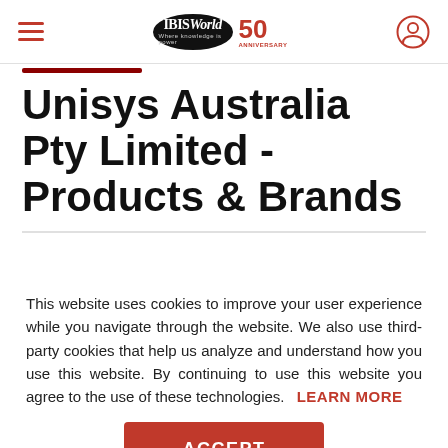IBISWorld 50th Anniversary — Navigation bar with hamburger menu and user icon
Unisys Australia Pty Limited - Products & Brands
This website uses cookies to improve your user experience while you navigate through the website. We also use third-party cookies that help us analyze and understand how you use this website. By continuing to use this website you agree to the use of these technologies. LEARN MORE
ACCEPT